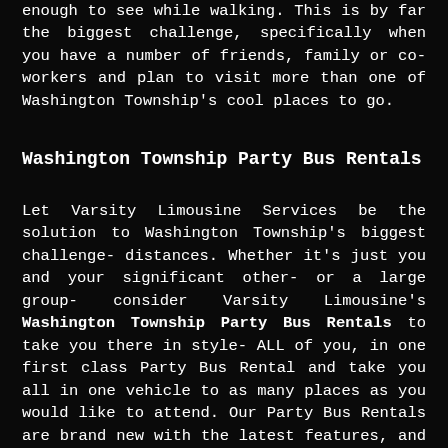enough to see while walking. This is by far the biggest challenge, specifically when you have a number of friends, family or co-workers and plan to visit more than one of Washington Township's cool places to go.
Washington Township Party Bus Rentals
Let Varsity Limousine Services be the solution to Washington Township's biggest challenge- distances. Whether it's just you and your significant other- or a large group- consider Varsity Limousine's Washington Township Party Bus Rentals to take you there in style- ALL of you, in one first class Party Bus Rental and take you all in one vehicle to as many places as you would like to attend. Our Party Bus Rentals are brand new with the latest features, and will take you to the best destinations. Plus, the ride to your destination couldn't be more fun with everyone in the same vehicle when you travel in style with Varsity